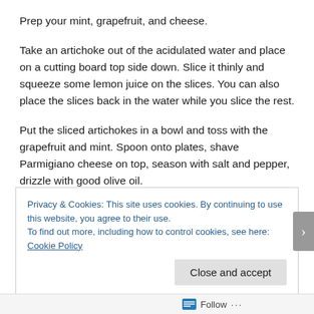Prep your mint, grapefruit, and cheese.
Take an artichoke out of the acidulated water and place on a cutting board top side down. Slice it thinly and squeeze some lemon juice on the slices. You can also place the slices back in the water while you slice the rest.
Put the sliced artichokes in a bowl and toss with the grapefruit and mint. Spoon onto plates, shave Parmigiano cheese on top, season with salt and pepper, drizzle with good olive oil.
Privacy & Cookies: This site uses cookies. By continuing to use this website, you agree to their use.
To find out more, including how to control cookies, see here: Cookie Policy
Follow ...